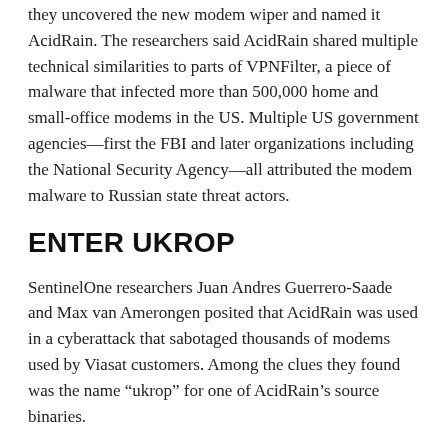they uncovered the new modem wiper and named it AcidRain. The researchers said AcidRain shared multiple technical similarities to parts of VPNFilter, a piece of malware that infected more than 500,000 home and small-office modems in the US. Multiple US government agencies—first the FBI and later organizations including the National Security Agency—all attributed the modem malware to Russian state threat actors.
ENTER UKROP
SentinelOne researchers Juan Andres Guerrero-Saade and Max van Amerongen posited that AcidRain was used in a cyberattack that sabotaged thousands of modems used by Viasat customers. Among the clues they found was the name “ukrop” for one of AcidRain’s source binaries.
While SentinelOne said it couldn’t be sure its theory was correct, Viasat representatives quickly said that the theory was. Viasat also said that the finding was consistent with a brief overview the company published on Wednesday.
Viasat...